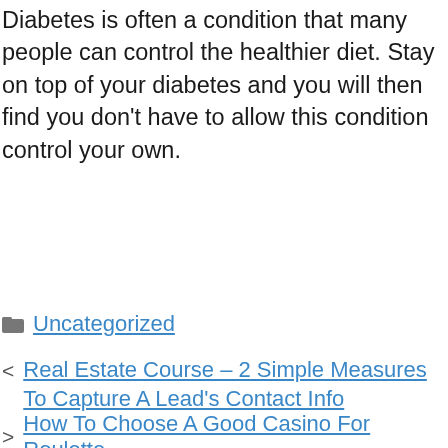Diabetes is often a condition that many people can control the healthier diet. Stay on top of your diabetes and you will then find you don't have to allow this condition control your own.
Uncategorized
< Real Estate Course – 2 Simple Measures To Capture A Lead's Contact Info
> How To Choose A Good Casino For Roulette
fufuslot
slot 777